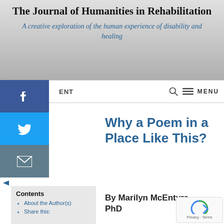The Journal of Humanities in Rehabilitation
A creative exploration of the human experience of disability and healing
ENT  MENU
Contents
About the Author(s)
Share this:
Why a Poem in a Place Like This?
By Marilyn McEntyre, PhD